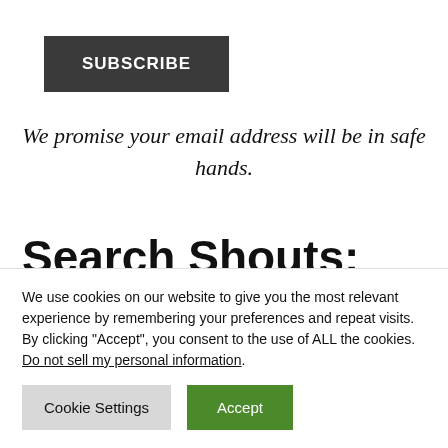SUBSCRIBE
We promise your email address will be in safe hands.
Search Shouts:
We use cookies on our website to give you the most relevant experience by remembering your preferences and repeat visits. By clicking “Accept”, you consent to the use of ALL the cookies. Do not sell my personal information.